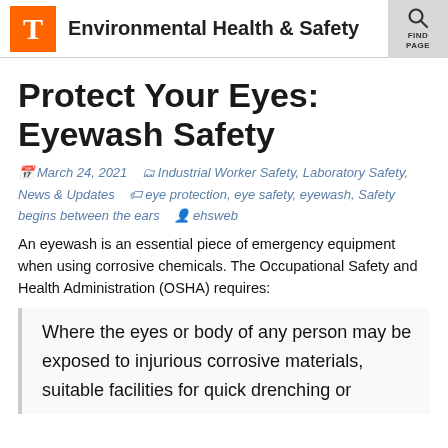T  Environmental Health & Safety  FIND PAGE
Protect Your Eyes: Eyewash Safety
March 24, 2021  Industrial Worker Safety, Laboratory Safety, News & Updates  eye protection, eye safety, eyewash, Safety begins between the ears  ehsweb
An eyewash is an essential piece of emergency equipment when using corrosive chemicals. The Occupational Safety and Health Administration (OSHA) requires:
Where the eyes or body of any person may be exposed to injurious corrosive materials, suitable facilities for quick drenching or